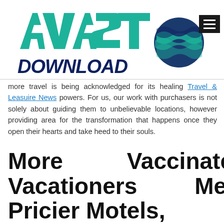[Figure (logo): AVAST DOWNLOAD logo with teal and dark blue slanted text and a globe/wave icon on the right, with a dark hamburger menu button in the top-right corner]
more travel is being acknowledged for its healing Travel & Leasuire News powers. For us, our work with purchasers is not solely about guiding them to unbelievable locations, however providing area for the transformation that happens once they open their hearts and take heed to their souls.
More Vaccinated Vacationers Mean Pricier Motels, Flights